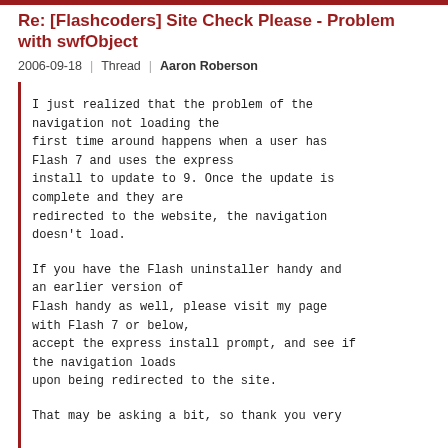Re: [Flashcoders] Site Check Please - Problem with swfObject
2006-09-18  |  Thread  |  Aaron Roberson
I just realized that the problem of the navigation not loading the first time around happens when a user has Flash 7 and uses the express install to update to 9. Once the update is complete and they are redirected to the website, the navigation doesn't load.

If you have the Flash uninstaller handy and an earlier version of Flash handy as well, please visit my page with Flash 7 or below, accept the express install prompt, and see if the navigation loads upon being redirected to the site.

That may be asking a bit, so thank you very